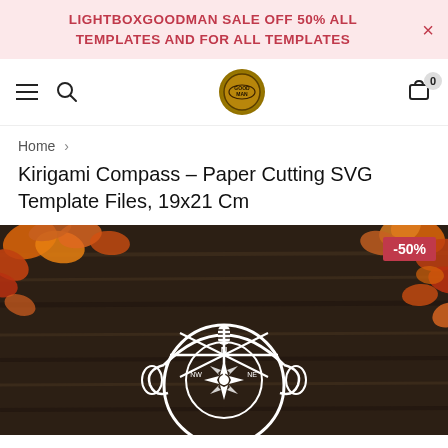LIGHTBOXGOODMAN SALE OFF 50% ALL TEMPLATES AND FOR ALL TEMPLATES
[Figure (logo): Navigation bar with hamburger menu, search icon, circular logo badge, and cart icon with 0 badge]
Home >
Kirigami Compass – Paper Cutting SVG Template Files, 19x21 Cm
[Figure (photo): Product photo showing a white paper-cut Kirigami compass design on a dark wooden background with autumn leaves. A -50% discount badge is shown in the top right corner.]